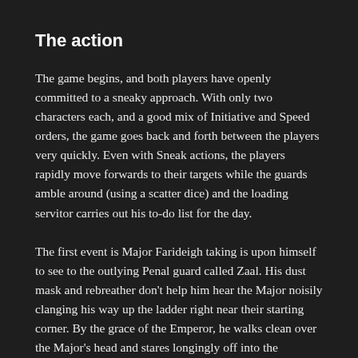The action
The game begins, and both players have openly committed to a sneaky approach. With only two characters each, and a good mix of Initiative and Speed orders, the game goes back and forth between the players very quickly. Even with Sneak actions, the players rapidly move forwards to their targets while the guards amble around (using a scatter dice) and the loading servitor carries out his to-do list for the day.
The first event is Major Farideigh taking is upon himself to see to the outlying Penal guard called Zaal. His dust mask and rebreather don't help him hear the Major noisily clanging his way up the ladder right near their starting corner. By the grace of the Emperor, he walks clean over the Major's head and stares longingly off into the